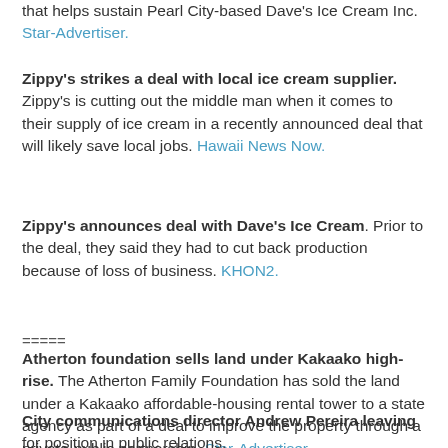that helps sustain Pearl City-based Dave's Ice Cream Inc. Star-Advertiser.
Zippy's strikes a deal with local ice cream supplier. Zippy's is cutting out the middle man when it comes to their supply of ice cream in a recently announced deal that will likely save local jobs. Hawaii News Now.
Zippy's announces deal with Dave's Ice Cream. Prior to the deal, they said they had to cut back production because of loss of business. KHON2.
=====
Atherton foundation sells land under Kakaako high-rise. The Atherton Family Foundation has sold the land under a Kakaako affordable-housing rental tower to a state agency as part of a deal to improve the property through a private-public partnership. Star-Advertiser.
City communications director Andrew Pereira leaving for position in public relations.